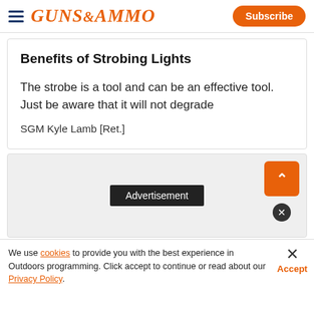GUNS&AMMO — Subscribe
Benefits of Strobing Lights
The strobe is a tool and can be an effective tool. Just be aware that it will not degrade
SGM Kyle Lamb [Ret.]
[Figure (other): Advertisement placeholder area with grey background]
We use cookies to provide you with the best experience in Outdoors programming. Click accept to continue or read about our Privacy Policy.